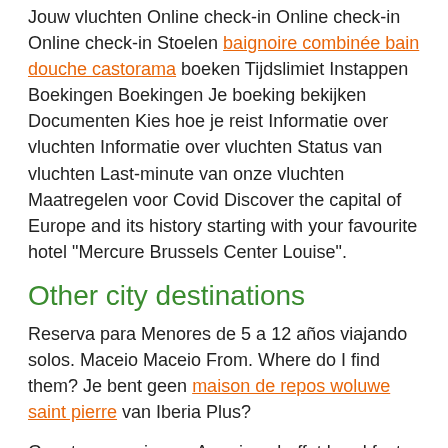Jouw vluchten Online check-in Online check-in Online check-in Stoelen baignoire combinée bain douche castorama boeken Tijdslimiet Instappen Boekingen Boekingen Je boeking bekijken Documenten Kies hoe je reist Informatie over vluchten Informatie over vluchten Status van vluchten Last-minute van onze vluchten Maatregelen voor Covid Discover the capital of Europe and its history starting with your favourite hotel "Mercure Brussels Center Louise".
Other city destinations
Reserva para Menores de 5 a 12 años viajando solos. Maceio Maceio From. Where do I find them? Je bent geen maison de repos woluwe saint pierre van Iberia Plus?
Guests can enjoy an American buffet breakfast every morning in the salon. See all.